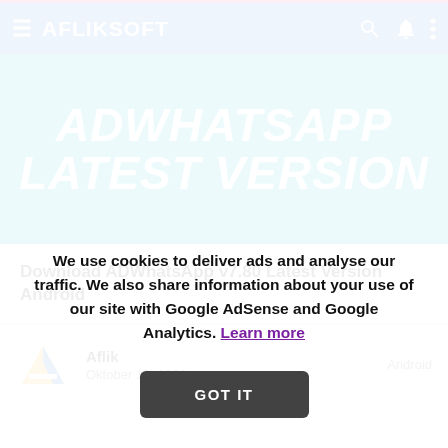AFLIKSOFT
[Figure (illustration): Banner image with cyan/teal background showing bold white italic text: ADWHATSAPP LATEST VERSION]
Download ADWhatsApp v7.80 Latest Version Android
Aflik · Oktober 16, 2020 · Android
We use cookies to deliver ads and analyse our traffic. We also share information about your use of our site with Google AdSense and Google Analytics. Learn more
GOT IT